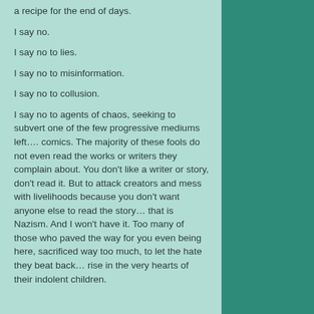a recipe for the end of days.
I say no.
I say no to lies.
I say no to misinformation.
I say no to collusion.
I say no to agents of chaos, seeking to subvert one of the few progressive mediums left…. comics. The majority of these fools do not even read the works or writers they complain about. You don't like a writer or story, don't read it. But to attack creators and mess with livelihoods because you don't want anyone else to read the story… that is Nazism. And I won't have it. Too many of those who paved the way for you even being here, sacrificed way too much, to let the hate they beat back… rise in the very hearts of their indolent children.